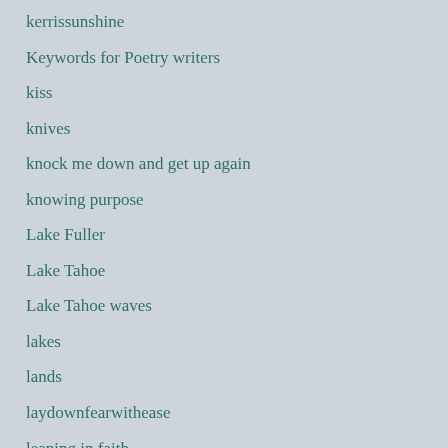kerrissunshine
Keywords for Poetry writers
kiss
knives
knock me down and get up again
knowing purpose
Lake Fuller
Lake Tahoe
Lake Tahoe waves
lakes
lands
laydownfearwithease
leaping in faith